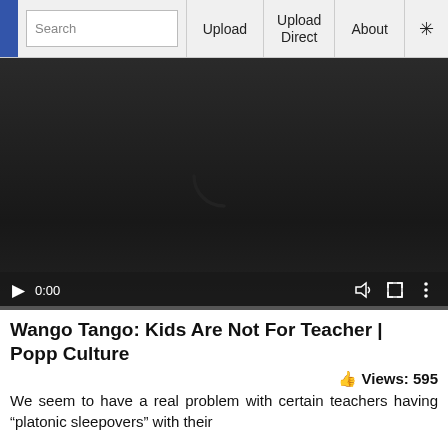Search | Upload | Upload Direct | About
[Figure (screenshot): Video player showing a dark/black screen with a loading spinner arc in the center. Controls at bottom show play button, time 0:00, volume icon, fullscreen icon, and more options icon. A progress bar is at the very bottom.]
Wango Tango: Kids Are Not For Teacher | Popp Culture
Views: 595
We seem to have a real problem with certain teachers having “platonic sleepovers” with their